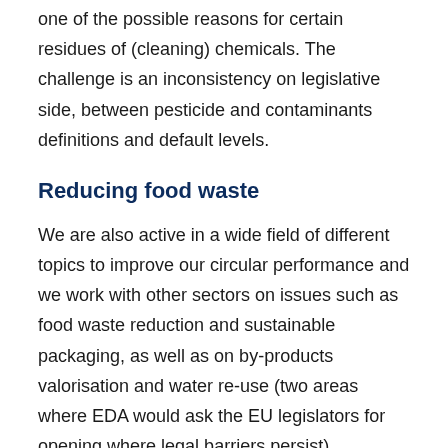one of the possible reasons for certain residues of (cleaning) chemicals. The challenge is an inconsistency on legislative side, between pesticide and contaminants definitions and default levels.
Reducing food waste
We are also active in a wide field of different topics to improve our circular performance and we work with other sectors on issues such as food waste reduction and sustainable packaging, as well as on by-products valorisation and water re-use (two areas where EDA would ask the EU legislators for opening where legal barriers persist).
Within the next article of all for the and and in the to the...